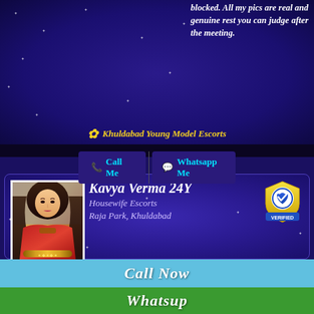blocked. All my pics are real and genuine rest you can judge after the meeting.
🌸 Khuldabad Young Model Escorts
📞 Call Me  💬 Whatsapp Me
Kavya Verma 24Y
Housewife Escorts
Raja Park, Khuldabad
[Figure (photo): Profile photo of Kavya Verma, woman with long hair in decorative clothing]
[Figure (illustration): Verified badge - yellow shield with blue checkmark heart logo and VERIFIED text]
Kavya Verma Independent female model escorts in Khuldabad. where you going to find the most finely Escort girl in the whole city and especially in my website gallery where you will see my gorgeous pics. Without editing It's a great privilege for me to present you leading site for
Call Now
Whatsup